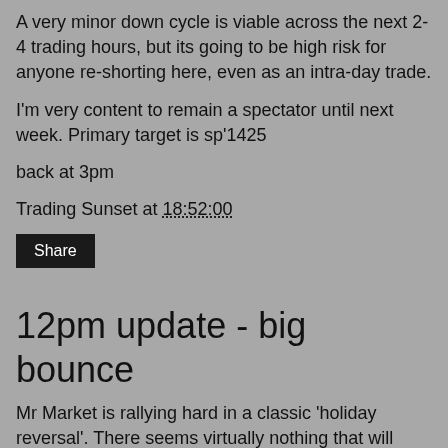A very minor down cycle is viable across the next 2-4 trading hours, but its going to be high risk for anyone re-shorting here, even as an intra-day trade.
I'm very content to remain a spectator until next week. Primary target is sp'1425
back at 3pm
Trading Sunset at 18:52:00
12pm update - big bounce
Mr Market is rallying hard in a classic 'holiday reversal'. There seems virtually nothing that will stop this bounce from breaking 1400 by this Friday. It would seem we'll likely level out next week, somewhere in the 1410/25 zone. This bounce would make for a very natural wave'2, as part of the current multi-month decline.